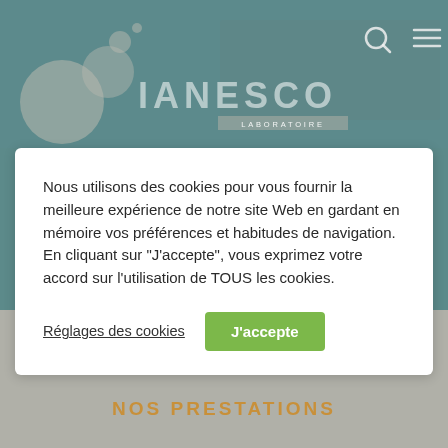[Figure (screenshot): Website header with Ianesco Laboratoire logo (grey circles and text) on teal/grey background, search icon and hamburger menu icon in top right]
Nous utilisons des cookies pour vous fournir la meilleure expérience de notre site Web en gardant en mémoire vos préférences et habitudes de navigation. En cliquant sur "J'accepte", vous exprimez votre accord sur l'utilisation de TOUS les cookies.
Réglages des cookies
J'accepte
NOS PRESTATIONS